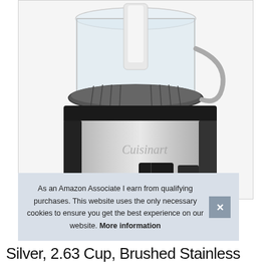[Figure (photo): Close-up photo of a Cuisinart food processor with brushed stainless steel base, black top housing, clear plastic bowl with white lid and feed tube, and two control buttons on the front.]
As an Amazon Associate I earn from qualifying purchases. This website uses the only necessary cookies to ensure you get the best experience on our website. More information
Silver, 2.63 Cup, Brushed Stainless